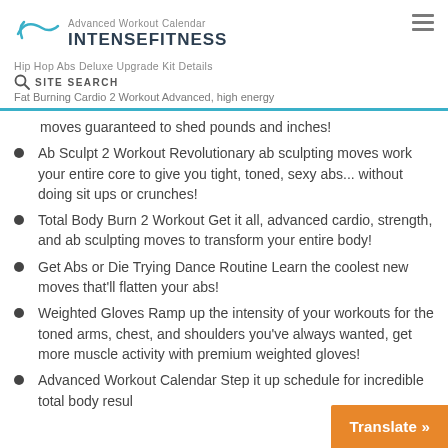Advanced Workout Calendar | INTENSEFITNESS | Hip Hop Abs Deluxe Upgrade Kit Details | SITE SEARCH | Fat Burning Cardio 2 Workout Advanced, high energy
moves guaranteed to shed pounds and inches!
Ab Sculpt 2 Workout Revolutionary ab sculpting moves work your entire core to give you tight, toned, sexy abs... without doing sit ups or crunches!
Total Body Burn 2 Workout Get it all, advanced cardio, strength, and ab sculpting moves to transform your entire body!
Get Abs or Die Trying Dance Routine Learn the coolest new moves that'll flatten your abs!
Weighted Gloves Ramp up the intensity of your workouts for the toned arms, chest, and shoulders you've always wanted, get more muscle activity with premium weighted gloves!
Advanced Workout Calendar Step it up schedule for incredible total body resul